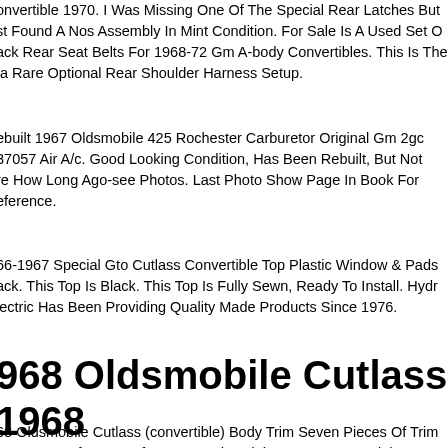onvertible 1970. I Was Missing One Of The Special Rear Latches But Just Found A Nos Assembly In Mint Condition. For Sale Is A Used Set Of Black Rear Seat Belts For 1968-72 Gm A-body Convertibles. This Is The Extra Rare Optional Rear Shoulder Harness Setup.
ebuilt 1967 Oldsmobile 425 Rochester Carburetor Original Gm 2gc 537057 Air A/c. Good Looking Condition, Has Been Rebuilt, But Not Sure How Long Ago-see Photos. Last Photo Show Page In Book For Reference.
66-1967 Special Gto Cutlass Convertible Top Plastic Window & Pads Black. This Top Is Black. This Top Is Fully Sewn, Ready To Install. Hydro Electric Has Been Providing Quality Made Products Since 1976.
1968 Oldsmobile Cutlass 1968 (convertible) Car Exteroir Trim
68 Oldsmobile Cutlass (convertible) Body Trim Seven Pieces Of Trim Left Quarter Left Door Left Front Fender Right Rear Quarter Right Doo